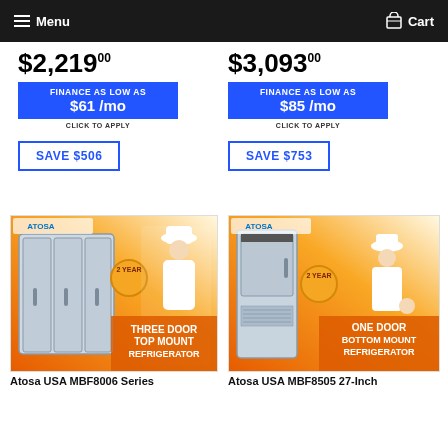Menu  Cart
$2,219.00
FINANCE AS LOW AS $61 /mo CLICK TO APPLY
SAVE $506
$3,093.00
FINANCE AS LOW AS $85 /mo CLICK TO APPLY
SAVE $753
[Figure (photo): Atosa USA three door top mount refrigerator product promotional image with chef and 2 Year warranty badge]
[Figure (photo): Atosa USA one door bottom mount refrigerator product promotional image with chef and 2 Year warranty badge]
Atosa USA MBF8006 Series
Atosa USA MBF8505 27-Inch